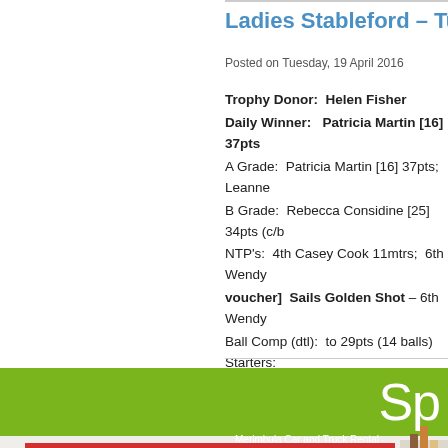Ladies Stableford – Tuesday 19t…
Posted on Tuesday, 19 April 2016
Trophy Donor:  Helen Fisher
Daily Winner:   Patricia Martin [16] 37pts
A Grade:  Patricia Martin [16] 37pts;  Leanne…
B Grade:  Rebecca Considine [25] 34pts (c/b…
NTP's:  4th Casey Cook 11mtrs;  6th Wendy…
[voucher]  Sails Golden Shot – 6th  Wendy…
Ball Comp (dtl):  to 29pts (14 balls)  Starters:…
Singles Matchplay Results:
Div 1 ~ Pam Appleby  R/up:  Wendy Maxwor…
[Figure (other): Green promotional banner with white text 'Sp…']
[Figure (other): Avis Merimbula advertisement — red background, white text: 'Avis Merimbula / Great rates and service / Merimbula Car and Truck Rental Terminal Building, Merimbula Airport / (02) 6497 5999 / Avis.com.au']